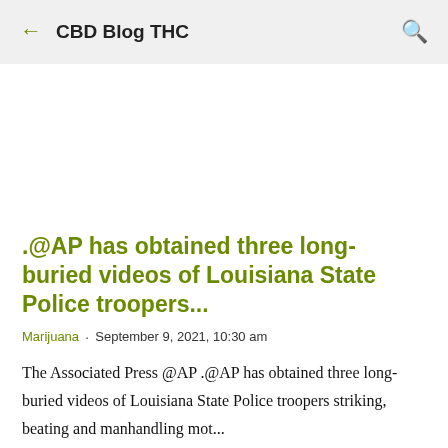CBD Blog THC
.@AP has obtained three long-buried videos of Louisiana State Police troopers...
Marijuana · September 9, 2021, 10:30 am
The Associated Press @AP .@AP has obtained three long-buried videos of Louisiana State Police troopers striking, beating and manhandling mot...